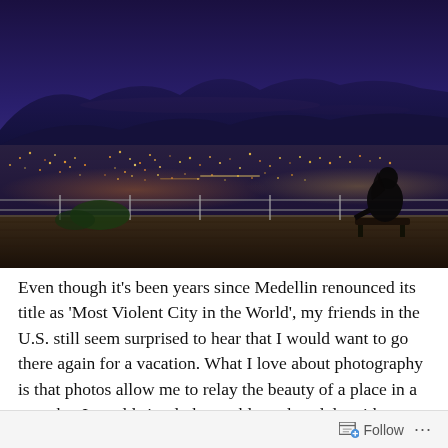[Figure (photo): Night cityscape photo of Medellin, Colombia viewed from an elevated deck/viewpoint. A person sits silhouetted on a bench on a wooden deck with a metal railing, looking out over the vast illuminated city below. Mountains are visible in the background under a dramatic deep blue/purple twilight sky.]
Even though it's been years since Medellin renounced its title as 'Most Violent City in the World',  my friends in the U.S. still seem surprised to hear that I would want to go there again for a vacation. What I love about photography is that photos allow me to relay the beauty of a place in a way that I would simply be unable to do solely with my words.
Follow ...